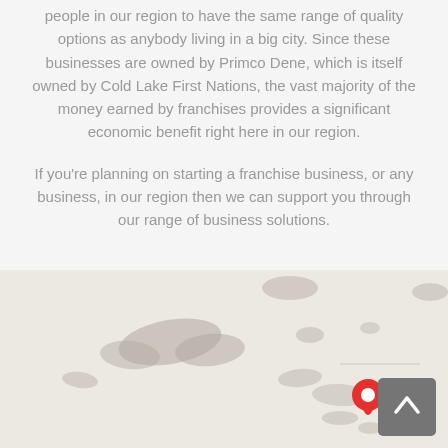people in our region to have the same range of quality options as anybody living in a big city. Since these businesses are owned by Primco Dene, which is itself owned by Cold Lake First Nations, the vast majority of the money earned by franchises provides a significant economic benefit right here in our region.
If you're planning on starting a franchise business, or any business, in our region then we can support you through our range of business solutions.
[Figure (map): A light-colored map showing a geographic region with grey landmass shapes, a red location pin marker in the lower right area, and a grey scroll-to-top button in the bottom right corner.]